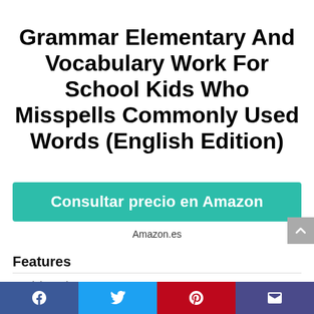Grammar Elementary And Vocabulary Work For School Kids Who Misspells Commonly Used Words (English Edition)
Consultar precio en Amazon
Amazon.es
Features
| Feature | Value |
| --- | --- |
| Is Adult Product |  |
| Release Date | 2022-05-12T17:59:51.552-00:00 |
Social share bar: Facebook, Twitter, Pinterest, Email